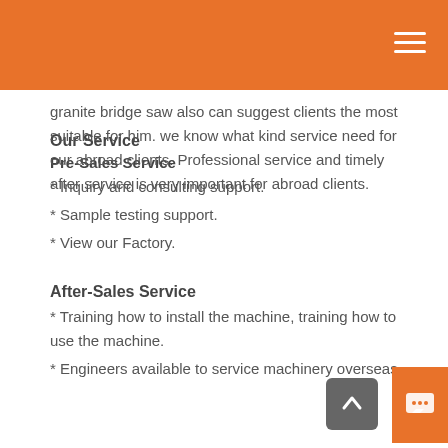granite bridge saw also can suggest clients the most suitable for him. we know what kind service need for our abroad clients. Professional service and timely after service is very important for abroad clients.
Our Service
Pre-Sales Service
* Inquiry and consulting support.
* Sample testing support.
* View our Factory.
After-Sales Service
* Training how to install the machine, training how to use the machine.
* Engineers available to service machinery overseas